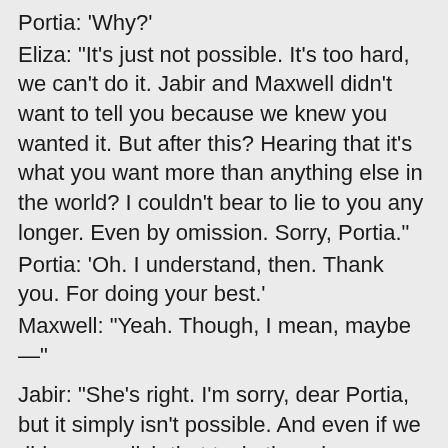Portia: 'Why?'
Eliza: "It's just not possible. It's too hard, we can't do it. Jabir and Maxwell didn't want to tell you because we knew you wanted it. But after this? Hearing that it's what you want more than anything else in the world? I couldn't bear to lie to you any longer. Even by omission. Sorry, Portia."
Portia: 'Oh. I understand, then. Thank you. For doing your best.'
Maxwell: "Yeah. Though, I mean, maybe —"
Jabir: "She's right. I'm sorry, dear Portia, but it simply isn't possible. And even if we did accomplish that task, there is no guarantee you could use it to